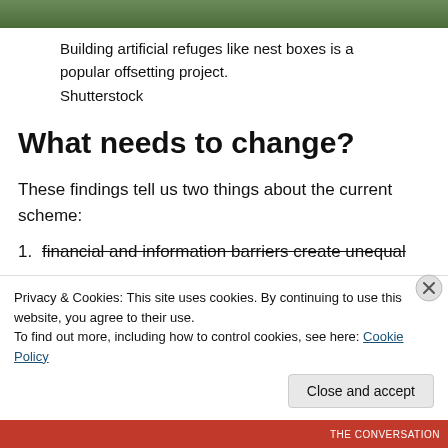[Figure (photo): Top portion of a photograph showing trees or natural foliage, partially cropped at the top of the page.]
Building artificial refuges like nest boxes is a popular offsetting project.
Shutterstock
What needs to change?
These findings tell us two things about the current scheme:
financial and information barriers create unequal
Privacy & Cookies: This site uses cookies. By continuing to use this website, you agree to their use.
To find out more, including how to control cookies, see here: Cookie Policy